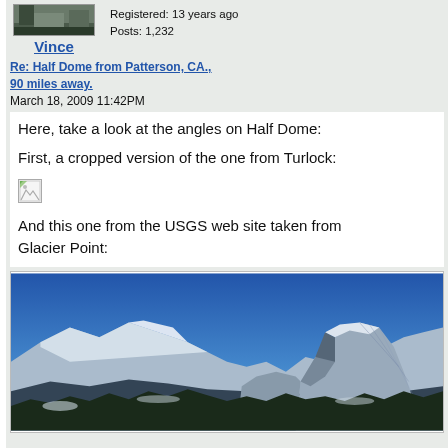[Figure (photo): Avatar/profile photo of user Vince, showing an outdoor/nature scene]
Vince
Registered: 13 years ago
Posts: 1,232
Re: Half Dome from Patterson, CA., 90 miles away.
March 18, 2009 11:42PM
Here, take a look at the angles on Half Dome:
First, a cropped version of the one from Turlock:
[Figure (photo): Broken/missing image placeholder icon]
And this one from the USGS web site taken from Glacier Point:
[Figure (photo): Photograph of Half Dome in Yosemite taken from Glacier Point, showing the iconic granite dome with snow-covered surrounding mountains against a blue sky]